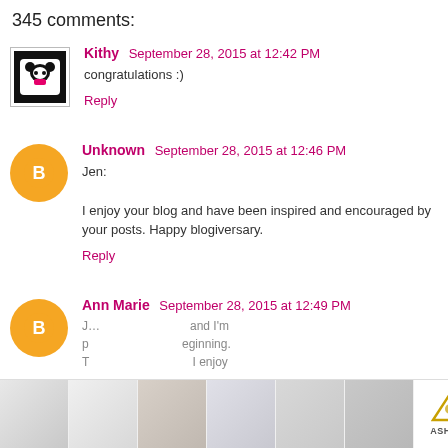345 comments:
Kithy  September 28, 2015 at 12:42 PM
congratulations :)
Reply
Unknown  September 28, 2015 at 12:46 PM
Jen:

I enjoy your blog and have been inspired and encouraged by your posts. Happy blogiversary.
Reply
Ann Marie  September 28, 2015 at 12:49 PM
[Figure (other): Advertisement banner with bedroom furniture images and Ashley Furniture logo at bottom of page]